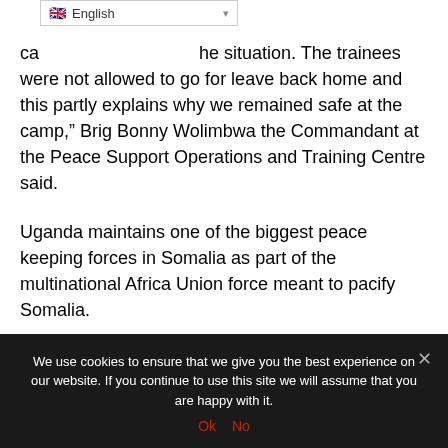[Figure (screenshot): Language selector dropdown showing UK flag and 'English' label with dropdown arrow]
ca... he situation. The trainees were not allowed to go for leave back home and this partly explains why we remained safe at the camp," Brig Bonny Wolimbwa the Commandant at the Peace Support Operations and Training Centre said.
Uganda maintains one of the biggest peace keeping forces in Somalia as part of the multinational Africa Union force meant to pacify Somalia.
The other African countries contributing to the peace keeping mission under the AMISOM include Kenya, Djibouti, Burundi and Ethiopia.
We use cookies to ensure that we give you the best experience on our website. If you continue to use this site we will assume that you are happy with it. Ok  No